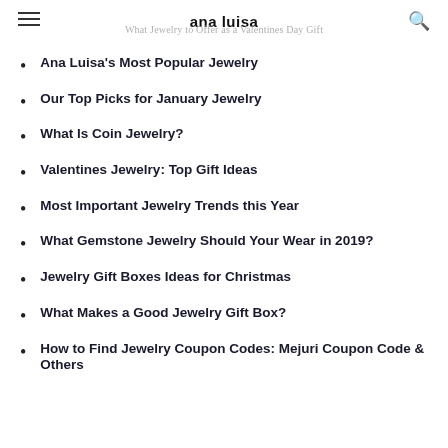ana luisa — What Jewelry to Offer as a Valentines Day Gift
Ana Luisa's Most Popular Jewelry
Our Top Picks for January Jewelry
What Is Coin Jewelry?
Valentines Jewelry: Top Gift Ideas
Most Important Jewelry Trends this Year
What Gemstone Jewelry Should Your Wear in 2019?
Jewelry Gift Boxes Ideas for Christmas
What Makes a Good Jewelry Gift Box?
How to Find Jewelry Coupon Codes: Mejuri Coupon Code & Others